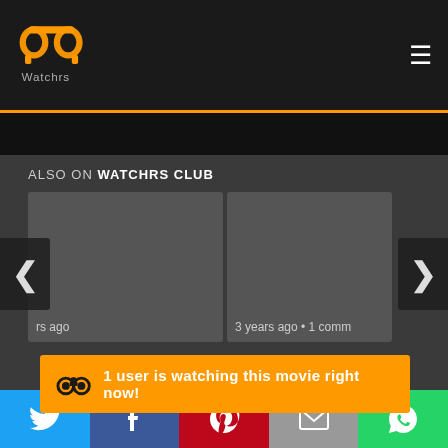[Figure (logo): Watchrs logo: two golden headphone-like shapes with text 'Watchrs' below, on dark background]
≡ (hamburger menu icon)
ALSO ON WATCHRS CLUB
[Figure (screenshot): Two content cards in a carousel-style slider. Left card is a gray placeholder with partially visible text 'rs ago'. Right card is a gray placeholder with text '3 years ago • 1 comm'. Left and right navigation arrows are visible.]
1 user is watching this movie right now!
[Figure (infographic): Social sharing bar with Twitter (blue), Facebook (dark blue), Pinterest (red), Email (gray), WhatsApp (green) buttons]